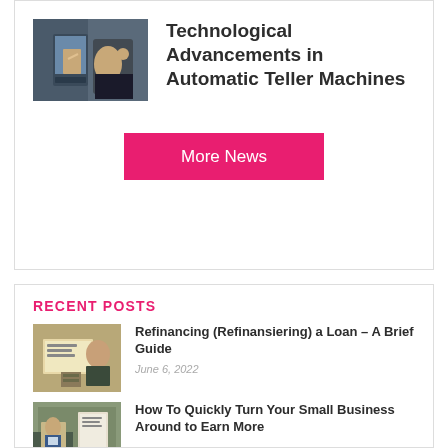[Figure (photo): Person using an ATM machine, hand pressing buttons on screen]
Technological Advancements in Automatic Teller Machines
More News
RECENT POSTS
[Figure (photo): Hands exchanging cash money]
Refinancing (Refinansiering) a Loan – A Brief Guide
June 6, 2022
[Figure (photo): Person looking at documents near a store window]
How To Quickly Turn Your Small Business Around to Earn More